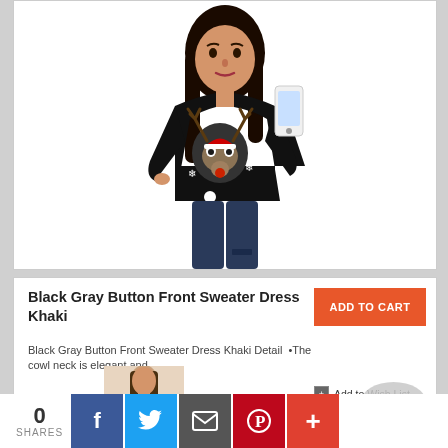[Figure (photo): Woman wearing a black Christmas reindeer sweater, taking a mirror selfie with a smartphone, wearing blue jeans]
Black Gray Button Front Sweater Dress Khaki
Black Gray Button Front Sweater Dress Khaki Detail •The cowl neck is elegant and..
ADD TO CART
Add to Wish List
Add to Compare
$44.00
[Figure (photo): Thumbnail of a woman product photo for Black Gray Button Front Sweater Dress Khaki]
0 SHARES
f
Twitter icon
Email icon
Pinterest icon
+